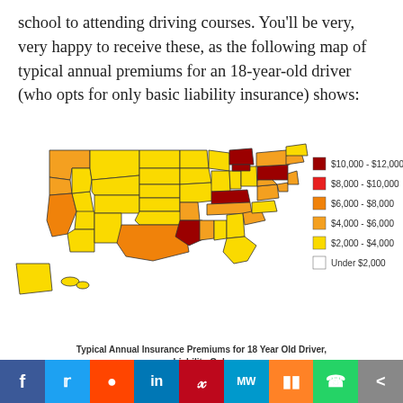school to attending driving courses. You'll be very, very happy to receive these, as the following map of typical annual premiums for an 18-year-old driver (who opts for only basic liability insurance) shows:
[Figure (map): Choropleth map of the USA showing typical annual insurance premiums for an 18-year-old driver (liability only). States are colored by premium range: dark red ($10,000-$12,000), red ($8,000-$10,000), orange ($6,000-$8,000), light orange ($4,000-$6,000), yellow ($2,000-$4,000), white (under $2,000). Legend shown to the right of the map.]
Typical Annual Insurance Premiums for 18 Year Old Driver, Liability Only
How Driving History Affects Car Insurance Rates